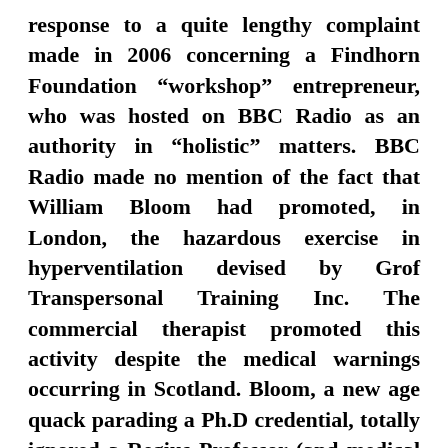response to a quite lengthy complaint made in 2006 concerning a Findhorn Foundation “workshop” entrepreneur, who was hosted on BBC Radio as an authority in “holistic” matters. BBC Radio made no mention of the fact that William Bloom had promoted, in London, the hazardous exercise in hyperventilation devised by Grof Transpersonal Training Inc. The commercial therapist promoted this activity despite the medical warnings occurring in Scotland. Bloom, a new age quack parading a Ph.D credential, totally ignored a Regius Professor (and medical expert) at Edinburgh University. The